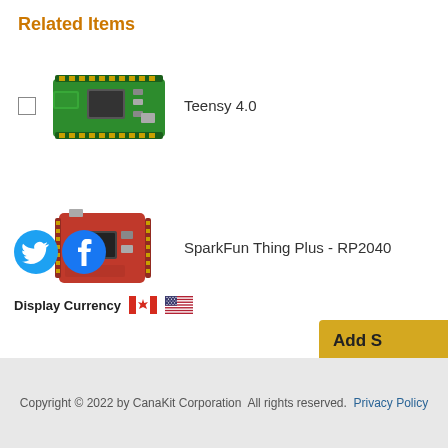Related Items
Teensy 4.0
SparkFun Thing Plus - RP2040
[Figure (screenshot): Add Selected button (partial, gold/yellow background)]
[Figure (illustration): Twitter and Facebook social media icons]
Display Currency [Canadian flag] [US flag]
Copyright © 2022 by CanaKit Corporation  All rights reserved.  Privacy Policy